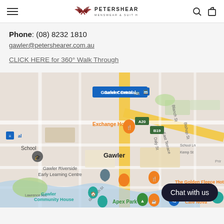Peter Shearer Menswear & Suit Hire
Phone: (08) 8232 1810
gawler@petershearer.com.au
CLICK HERE for 360° Walk Through
[Figure (map): Google Maps view of Gawler, South Australia, showing Gawler Central station, Exchange Hotel, Gawler Riverside Early Learning Centre, Gawler Community House, Apex Park, The Golden Fleece Hotel, and Café Nova.]
Chat with us